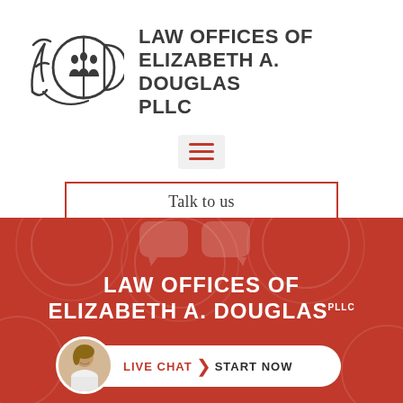[Figure (logo): EAD Law Offices logo with stylized cursive E, circle with silhouettes of people, and D letterform in dark gray]
LAW OFFICES OF ELIZABETH A. DOUGLAS PLLC
[Figure (other): Hamburger menu icon (three horizontal lines) in a light gray rounded rectangle]
Talk to us
[Figure (screenshot): Red/orange background section with decorative geometric pattern, showing LAW OFFICES OF ELIZABETH A. DOUGLAS PLLC in white, two white chat bubble icons, and a live chat bar at the bottom with a woman's avatar photo, LIVE CHAT and START NOW text]
LAW OFFICES OF ELIZABETH A. DOUGLAS PLLC
LIVE CHAT START NOW